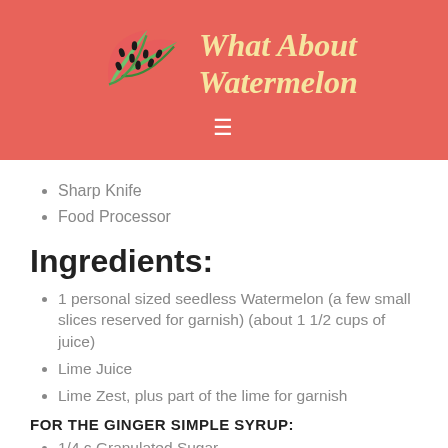[Figure (logo): What About Watermelon website header with watermelon slice illustrations and site title in yellow italic script on coral/red background, with hamburger menu icon below]
Sharp Knife
Food Processor
Ingredients:
1 personal sized seedless Watermelon (a few small slices reserved for garnish) (about 1 1/2 cups of juice)
Lime Juice
Lime Zest, plus part of the lime for garnish
FOR THE GINGER SIMPLE SYRUP:
1/4 c Granulated Sugar
3 tbsp Water